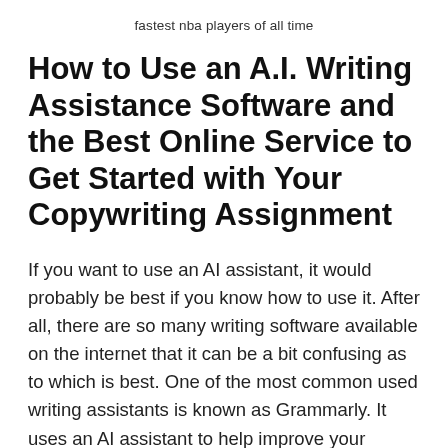fastest nba players of all time
How to Use an A.I. Writing Assistance Software and the Best Online Service to Get Started with Your Copywriting Assignment
If you want to use an AI assistant, it would probably be best if you know how to use it. After all, there are so many writing software available on the internet that it can be a bit confusing as to which is best. One of the most common used writing assistants is known as Grammarly. It uses an AI assistant to help improve your writing. It can be used in multiple platforms such as Word, Google Docs, and even in Gmail. If you are